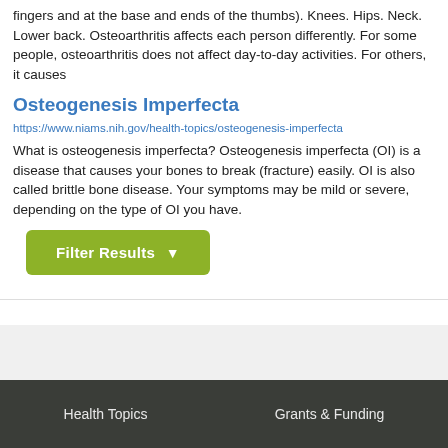fingers and at the base and ends of the thumbs). Knees. Hips. Neck. Lower back. Osteoarthritis affects each person differently. For some people, osteoarthritis does not affect day-to-day activities. For others, it causes
Osteogenesis Imperfecta
https://www.niams.nih.gov/health-topics/osteogenesis-imperfecta
What is osteogenesis imperfecta? Osteogenesis imperfecta (OI) is a disease that causes your bones to break (fracture) easily. OI is also called brittle bone disease. Your symptoms may be mild or severe, depending on the type of OI you have.
Filter Results
Health Topics   Grants & Funding